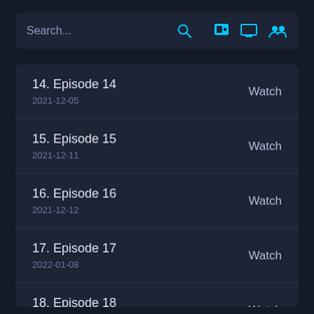Search...
14. Episode 14
2021-12-05
Watch
15. Episode 15
2021-12-11
Watch
16. Episode 16
2021-12-12
Watch
17. Episode 17
2022-01-08
Watch
18. Episode 18
2022-01-15
Watch